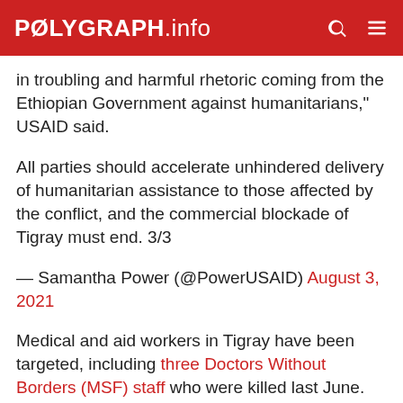POLYGRAPH.info
in troubling and harmful rhetoric coming from the Ethiopian Government against humanitarians," USAID said.
All parties should accelerate unhindered delivery of humanitarian assistance to those affected by the conflict, and the commercial blockade of Tigray must end. 3/3
— Samantha Power (@PowerUSAID) August 3, 2021
Medical and aid workers in Tigray have been targeted, including three Doctors Without Borders (MSF) staff who were killed last June. Health facilities have been looted and destroyed by armed groups. MSF said